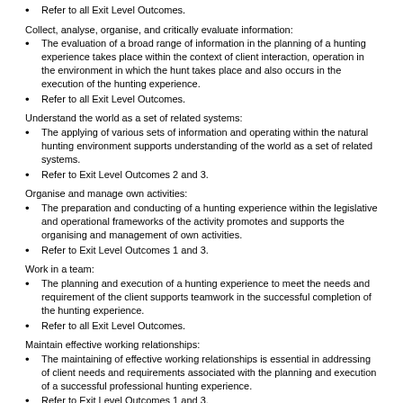Refer to all Exit Level Outcomes.
Collect, analyse, organise, and critically evaluate information:
The evaluation of a broad range of information in the planning of a hunting experience takes place within the context of client interaction, operation in the environment in which the hunt takes place and also occurs in the execution of the hunting experience.
Refer to all Exit Level Outcomes.
Understand the world as a set of related systems:
The applying of various sets of information and operating within the natural hunting environment supports understanding of the world as a set of related systems.
Refer to Exit Level Outcomes 2 and 3.
Organise and manage own activities:
The preparation and conducting of a hunting experience within the legislative and operational frameworks of the activity promotes and supports the organising and management of own activities.
Refer to Exit Level Outcomes 1 and 3.
Work in a team:
The planning and execution of a hunting experience to meet the needs and requirement of the client supports teamwork in the successful completion of the hunting experience.
Refer to all Exit Level Outcomes.
Maintain effective working relationships:
The maintaining of effective working relationships is essential in addressing of client needs and requirements associated with the planning and execution of a successful professional hunting experience.
Refer to Exit Level Outcomes 1 and 3.